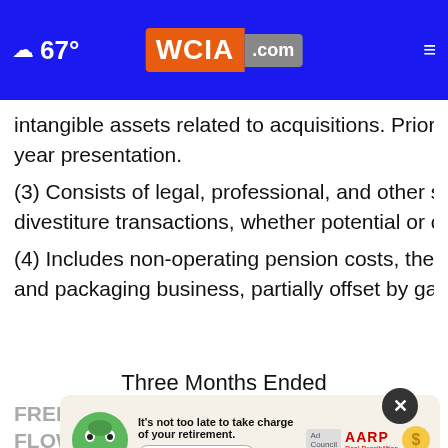67° WCIA.com
intangible assets related to acquisitions. Prior year year presentation.
(3) Consists of legal, professional, and other service divestiture transactions, whether potential or cons
(4) Includes non-operating pension costs, the loss f and packaging business, partially offset by gains fro
Three Months Ended
FREE CASH FLOW
[Figure (other): AARP advertisement overlay: green mascot character, text 'It’s not too late to take charge of your retirement. Get your top 3 tips →', Ad Council logo, AARP logo, gold coin graphic]